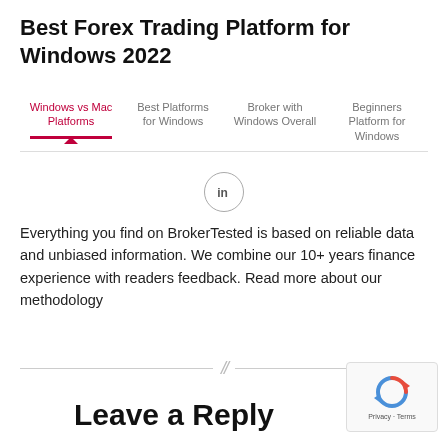Best Forex Trading Platform for Windows 2022
Windows vs Mac Platforms | Best Platforms for Windows | Broker with Windows Overall | Beginners Platform for Windows
[Figure (logo): LinkedIn logo icon inside a circle]
Everything you find on BrokerTested is based on reliable data and unbiased information. We combine our 10+ years finance experience with readers feedback. Read more about our methodology
Leave a Reply
[Figure (logo): Google reCAPTCHA badge with recycle icon, Privacy and Terms text]